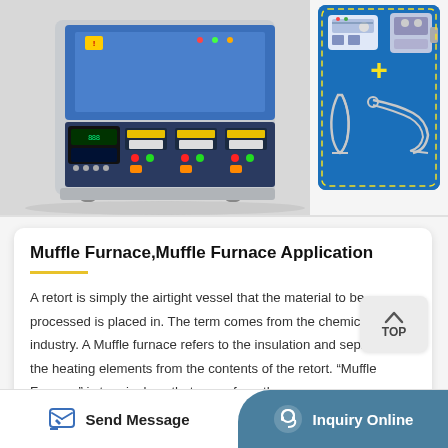[Figure (photo): Muffle furnace machine with control panel showing buttons and displays, on wheels]
[Figure (photo): Blue panel with electronic components, a plus symbol, and tools/instruments]
Muffle Furnace,Muffle Furnace Application
A retort is simply the airtight vessel that the material to be processed is placed in. The term comes from the chemical industry. A Muffle furnace refers to the insulation and separation of the heating elements from the contents of the retort. “Muffle Furnace” is terminology that came from the...
Send Message
Inquiry Online